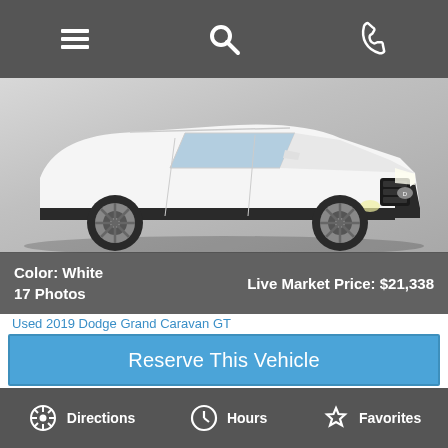[Figure (screenshot): Mobile app top navigation bar with hamburger menu, search, and phone icons on dark gray background]
[Figure (photo): White Dodge Grand Caravan GT front/side view on gray gradient background]
Color: White
17 Photos
Live Market Price: $21,338
Used 2019 Dodge Grand Caravan GT
Reserve This Vehicle
Vehicle Details
[Figure (photo): Blurred dark image of palm trees against blue sky, representing another vehicle listing background]
Stock #JP111A
Directions
Hours
Favorites